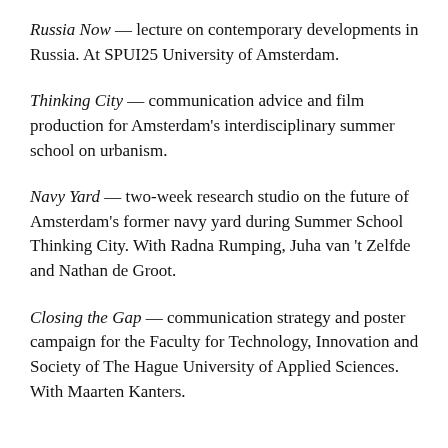Russia Now — lecture on contemporary developments in Russia. At SPUI25 University of Amsterdam.
Thinking City — communication advice and film production for Amsterdam's interdisciplinary summer school on urbanism.
Navy Yard — two-week research studio on the future of Amsterdam's former navy yard during Summer School Thinking City. With Radna Rumping, Juha van 't Zelfde and Nathan de Groot.
Closing the Gap — communication strategy and poster campaign for the Faculty for Technology, Innovation and Society of The Hague University of Applied Sciences. With Maarten Kanters.